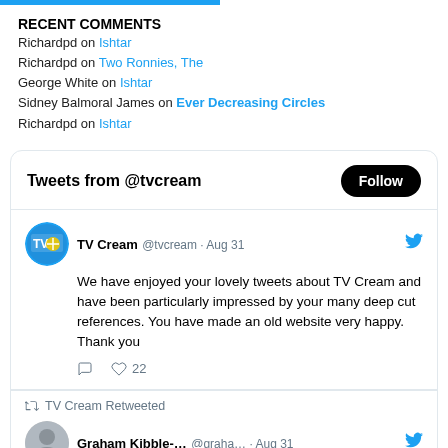RECENT COMMENTS
Richardpd on Ishtar
Richardpd on Two Ronnies, The
George White on Ishtar
Sidney Balmoral James on Ever Decreasing Circles
Richardpd on Ishtar
[Figure (screenshot): Twitter/X embedded widget showing tweets from @tvcream with a Follow button, a tweet from TV Cream dated Aug 31 about enjoying tweets, and a retweet from Graham Kibble- dated Aug 31.]